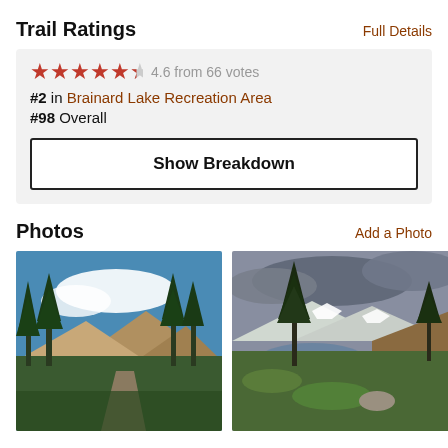Trail Ratings
Full Details
4.6 from 66 votes
#2 in Brainard Lake Recreation Area
#98 Overall
Show Breakdown
Photos
Add a Photo
[Figure (photo): Mountain trail through dense evergreen forest with rocky path and blue sky with clouds]
[Figure (photo): Alpine landscape with lone pine tree, mountain lake, rocky slopes and dramatic cloudy sky]